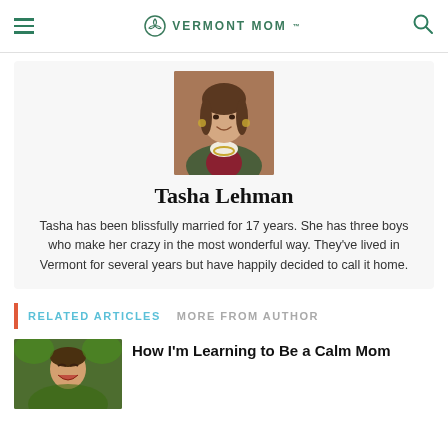Vermont Mom
[Figure (photo): Portrait photo of Tasha Lehman, a woman wearing a green jacket and necklace, smiling, standing in front of a brick wall]
Tasha Lehman
Tasha has been blissfully married for 17 years. She has three boys who make her crazy in the most wonderful way. They've lived in Vermont for several years but have happily decided to call it home.
RELATED ARTICLES   MORE FROM AUTHOR
[Figure (photo): Thumbnail image of a child laughing or playing outdoors, used as article thumbnail for 'How I'm Learning to Be a Calm Mom']
How I'm Learning to Be a Calm Mom